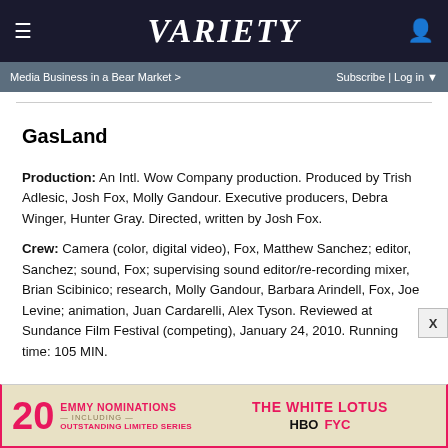VARIETY
Media Business in a Bear Market > | Subscribe | Log in
GasLand
Production: An Intl. Wow Company production. Produced by Trish Adlesic, Josh Fox, Molly Gandour. Executive producers, Debra Winger, Hunter Gray. Directed, written by Josh Fox.
Crew: Camera (color, digital video), Fox, Matthew Sanchez; editor, Sanchez; sound, Fox; supervising sound editor/re-recording mixer, Brian Scibinico; research, Molly Gandour, Barbara Arindell, Fox, Joe Levine; animation, Juan Cardarelli, Alex Tyson. Reviewed at Sundance Film Festival (competing), January 24, 2010. Running time: 105 MIN.
[Figure (other): Advertisement banner: 20 EMMY NOMINATIONS THE WHITE LOTUS HBO FYC, OUTSTANDING LIMITED SERIES]